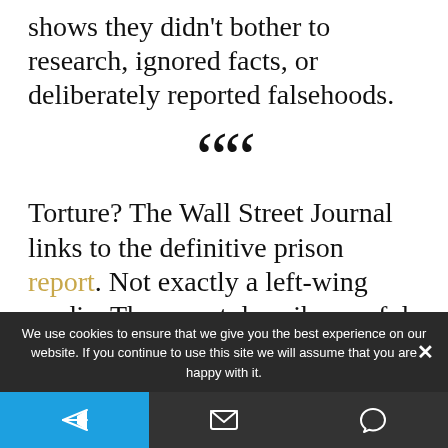shows they didn't bother to research, ignored facts, or deliberately reported falsehoods.
““
Torture? The Wall Street Journal links to the definitive prison report. Not exactly a left-wing media. The report describes awful
We use cookies to ensure that we give you the best experience on our website. If you continue to use this site we will assume that you are happy with it.